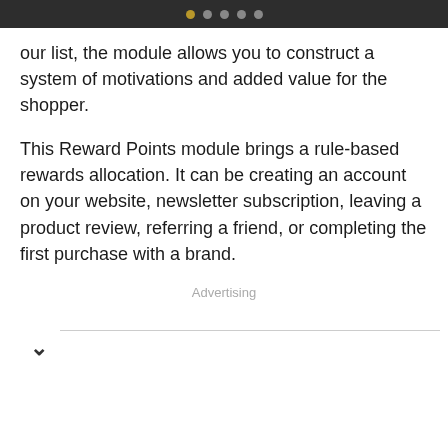• • • • •
our list, the module allows you to construct a system of motivations and added value for the shopper.
This Reward Points module brings a rule-based rewards allocation. It can be creating an account on your website, newsletter subscription, leaving a product review, referring a friend, or completing the first purchase with a brand.
Advertising